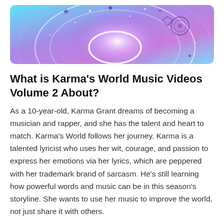[Figure (illustration): Colorful animated banner with purple and blue tones, glowing rings, stars, a vinyl record, and sparkles on a gradient background]
What is Karma’s World Music Videos Volume 2 About?
As a 10-year-old, Karma Grant dreams of becoming a musician and rapper, and she has the talent and heart to match. Karma’s World follows her journey. Karma is a talented lyricist who uses her wit, courage, and passion to express her emotions via her lyrics, which are peppered with her trademark brand of sarcasm. He’s still learning how powerful words and music can be in this season’s storyline. She wants to use her music to improve the world, not just share it with others.